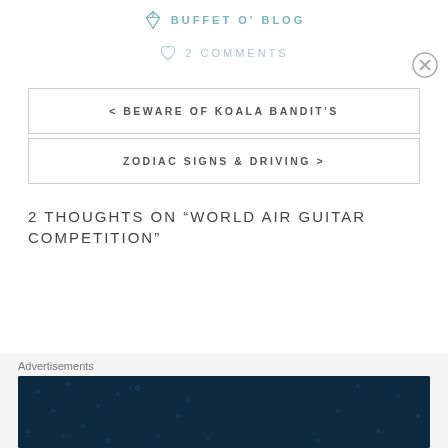BUFFET O' BLOG
2 COMMENTS
< BEWARE OF KOALA BANDIT'S
ZODIAC SIGNS & DRIVING >
2 THOUGHTS ON “WORLD AIR GUITAR COMPETITION”
[Figure (other): Advertisement banner: Create surveys, polls, quizzes, and forms. WordPress logo and Try Scan badge on dark navy background.]